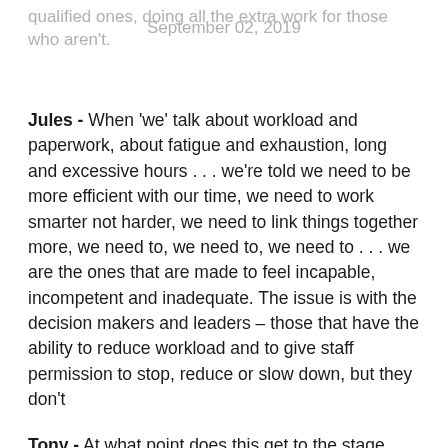qualified ones, doing all the extra work for those who aren't.    September 02, 2019
Jules - When 'we' talk about workload and paperwork, about fatigue and exhaustion, long and excessive hours . . . we're told we need to be more efficient with our time, we need to work smarter not harder, we need to link things together more, we need to, we need to, we need to . . . we are the ones that are made to feel incapable, incompetent and inadequate. The issue is with the decision makers and leaders – those that have the ability to reduce workload and to give staff permission to stop, reduce or slow down, but they don't
Tony - At what point does this get to the stage where teachers and indeed support staff say simply no. Document their hours and begin to